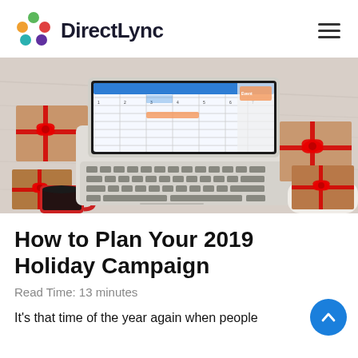DirectLync
[Figure (photo): Overhead view of a person's hand on a laptop keyboard with a calendar/scheduling app visible on screen, surrounded by wrapped Christmas gifts with red bows and a red coffee mug, on a light fur/carpet surface.]
How to Plan Your 2019 Holiday Campaign
Read Time: 13 minutes
It's that time of the year again when people